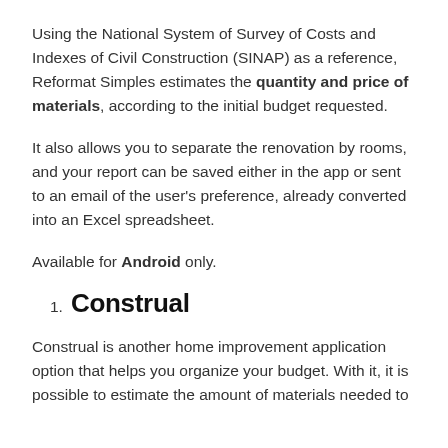Using the National System of Survey of Costs and Indexes of Civil Construction (SINAP) as a reference, Reformat Simples estimates the quantity and price of materials, according to the initial budget requested.
It also allows you to separate the renovation by rooms, and your report can be saved either in the app or sent to an email of the user's preference, already converted into an Excel spreadsheet.
Available for Android only.
Construal
Construal is another home improvement application option that helps you organize your budget. With it, it is possible to estimate the amount of materials needed to